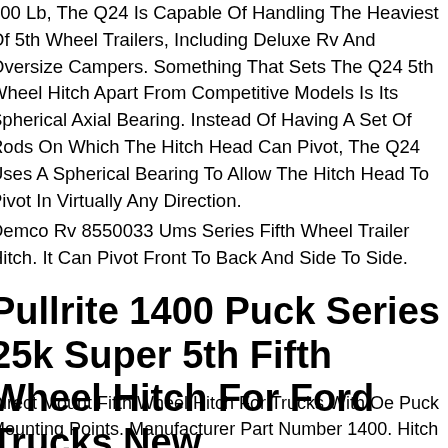000 Lb, The Q24 Is Capable Of Handling The Heaviest Of 5th Wheel Trailers, Including Deluxe Rv And Oversize Campers. Something That Sets The Q24 5th Wheel Hitch Apart From Competitive Models Is Its Spherical Axial Bearing. Instead Of Having A Set Of Rods On Which The Hitch Head Can Pivot, The Q24 Uses A Spherical Bearing To Allow The Hitch Head To Pivot In Virtually Any Direction.
Demco Rv 8550033 Ums Series Fifth Wheel Trailer Hitch. It Can Pivot Front To Back And Side To Side.
Pullrite 1400 Puck Series 25k Super 5th Fifth Wheel Hitch For Ford Trucks New
Direct Mount Fifth Wheel Hitch For Trucks With Oe Puck Mounting Points. Manufacturer Part Number 1400. Hitch Plate Weight 40 Lbs. Long Bed Ford Trucks. Dual Articulating Head Moves Four Directions.